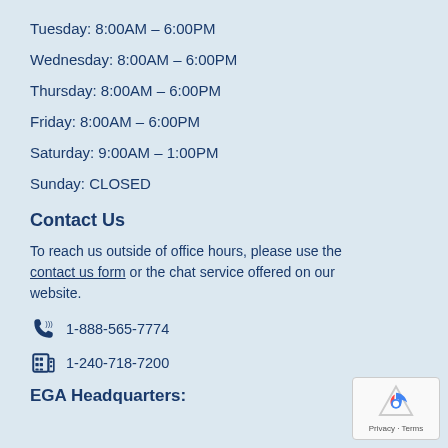Tuesday: 8:00AM – 6:00PM
Wednesday: 8:00AM – 6:00PM
Thursday: 8:00AM – 6:00PM
Friday: 8:00AM – 6:00PM
Saturday: 9:00AM – 1:00PM
Sunday: CLOSED
Contact Us
To reach us outside of office hours, please use the contact us form or the chat service offered on our website.
1-888-565-7774
1-240-718-7200
EGA Headquarters: